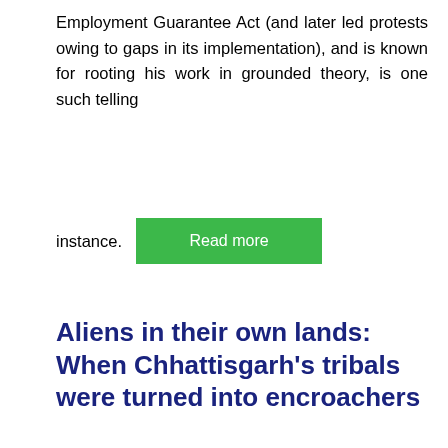Employment Guarantee Act (and later led protests owing to gaps in its implementation), and is known for rooting his work in grounded theory, is one such telling instance.
[Figure (other): Green 'Read more' button]
Aliens in their own lands: When Chhattisgarh’s tribals were turned into encroachers
April 6, 2019
The Hindu || Jacob Koshy || April 6, 2019
In Chhattisgarh, the Forest Rights Act potentially allows 7.4 million tribal and other traditional forest dwellers to